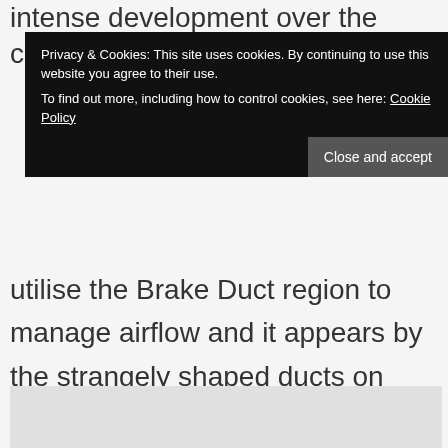intense development over the course of 2014 as a
[Figure (other): Cookie and privacy consent banner overlay with dark background, containing privacy notice text and a Close and accept button]
utilise the Brake Duct region to manage airflow and it appears by the strangely shaped ducts on show here that McLaren intend to do just that.
[Figure (photo): Partial image/photograph visible at bottom of page, appears to be a car part or racing component]